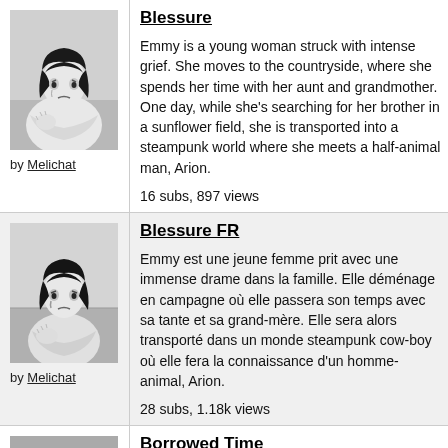Blessure
[Figure (illustration): Manga-style illustration of a young woman with dark hair, looking sad, hugging herself. Black and white.]
by Melichat
Emmy is a young woman struck with intense grief. She moves to the countryside, where she spends her time with her aunt and grandmother. One day, while she's searching for her brother in a sunflower field, she is transported into a steampunk world where she meets a half-animal man, Arion.
16 subs, 897 views
Blessure FR
[Figure (illustration): Manga-style illustration of a young woman with dark hair, looking sad, similar to previous thumbnail. Black and white.]
by Melichat
Emmy est une jeune femme prit avec une immense drame dans la famille. Elle déménage en campagne où elle passera son temps avec sa tante et sa grand-mère. Elle sera alors transporté dans un monde steampunk cow-boy où elle fera la connaissance d'un homme-animal, Arion.
28 subs, 1.18k views
Borrowed Time
[Figure (illustration): Manga-style illustration, partial view, black and white.]
After his student council presidential speech, Aiden Hoffer stumbles upon a mystifying orb that...